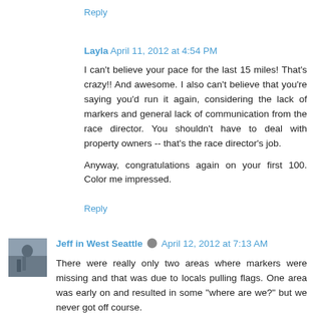Reply
Layla April 11, 2012 at 4:54 PM
I can't believe your pace for the last 15 miles! That's crazy!! And awesome. I also can't believe that you're saying you'd run it again, considering the lack of markers and general lack of communication from the race director. You shouldn't have to deal with property owners -- that's the race director's job.

Anyway, congratulations again on your first 100. Color me impressed.
Reply
Jeff in West Seattle April 12, 2012 at 7:13 AM
There were really only two areas where markers were missing and that was due to locals pulling flags. One area was early on and resulted in some "where are we?" but we never got off course.